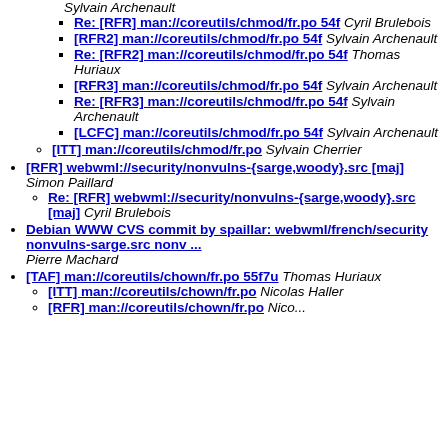Sylvain Archenault
Re: [RFR] man://coreutils/chmod/fr.po 54f Cyril Brulebois
[RFR2] man://coreutils/chmod/fr.po 54f Sylvain Archenault
Re: [RFR2] man://coreutils/chmod/fr.po 54f Thomas Huriaux
[RFR3] man://coreutils/chmod/fr.po 54f Sylvain Archenault
Re: [RFR3] man://coreutils/chmod/fr.po 54f Sylvain Archenault
[LCFC] man://coreutils/chmod/fr.po 54f Sylvain Archenault
[ITT] man://coreutils/chmod/fr.po Sylvain Cherrier
[RFR] webwml://security/nonvulns-{sarge,woody}.src [maj] Simon Paillard
Re: [RFR] webwml://security/nonvulns-{sarge,woody}.src [maj] Cyril Brulebois
Debian WWW CVS commit by spaillar: webwml/french/security nonvulns-sarge.src nonv ... Pierre Machard
[TAF] man://coreutils/chown/fr.po 55f7u Thomas Huriaux
[ITT] man://coreutils/chown/fr.po Nicolas Haller
[RFR] man://coreutils/chown/fr.po Nicolas ...